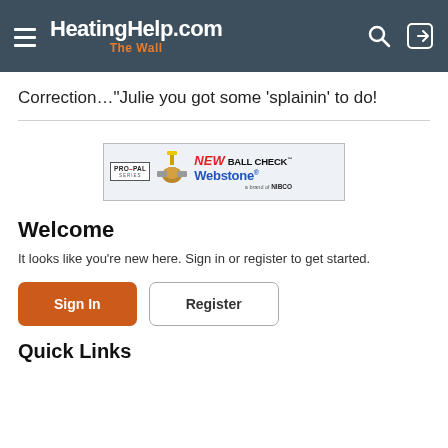HeatingHelp.com The Wall
Correction…“Julie you got some ‘splainin’ to do!
[Figure (other): Advertisement banner for Webstone PRO-PAL SERIES NEW BALL CHECK, a brand of NIBCO]
Welcome
It looks like you're new here. Sign in or register to get started.
Sign In   Register
Quick Links